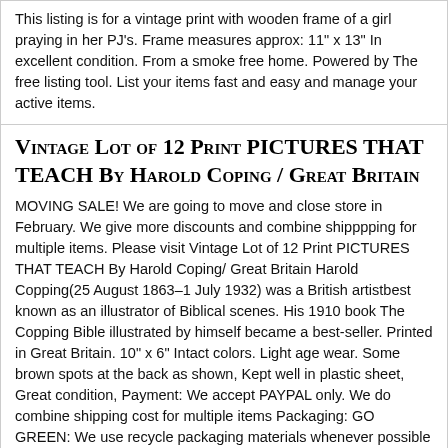This listing is for a vintage print with wooden frame of a girl praying in her PJ's. Frame measures approx: 11" x 13" In excellent condition. From a smoke free home. Powered by The free listing tool. List your items fast and easy and manage your active items.
Vintage Lot of 12 Print PICTURES THAT TEACH By Harold Coping / Great Britain
MOVING SALE! We are going to move and close store in February. We give more discounts and combine shipppping for multiple items. Please visit Vintage Lot of 12 Print PICTURES THAT TEACH By Harold Coping/ Great Britain Harold Copping(25 August 1863–1 July 1932) was a British artistbest known as an illustrator of Biblical scenes. His 1910 book The Copping Bible illustrated by himself became a best-seller. Printed in Great Britain. 10" x 6" Intact colors. Light age wear. Some brown spots at the back as shown, Kept well in plastic sheet, Great condition, Payment: We accept PAYPAL only. We do combine shipping cost for multiple items Packaging: GO GREEN: We use recycle packaging materials whenever possible Shipment: We will ship in the next working day after the payment has been made. Return Policy: We accept the return within 14 days. ... more
VINTAGE PRINT OF LAST SUPPER IN WOODEN FRAME W/ GLASS
VINTAGE PRINT OF LAST SUPPER IN WOODEN FRAME W/GLASS IT IS 22" LONG AND 18" HIGH. IN VERY GOOD VINTAGE AGES CONDITION. JUST AROUND THE WOODEN FRAME RIM HAVE SOME SMALL PAINT CHIPS(AS SHOWN) THE GLASS IS NO CHIPS AND NO CRACKS. PLEASE SEE ALL THE PHOTOS FOR MORE